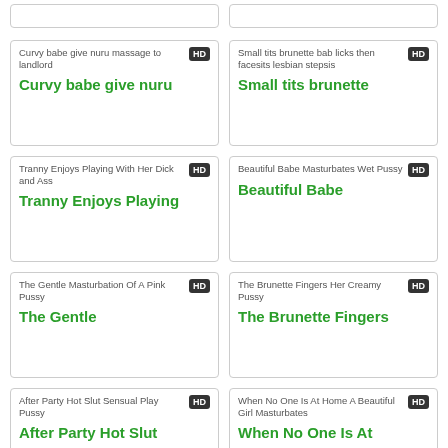[Figure (screenshot): Partial top card left - cropped video thumbnail card]
[Figure (screenshot): Partial top card right - cropped video thumbnail card]
[Figure (screenshot): Video thumbnail card: Curvy babe give nuru massage to landlord, HD badge]
[Figure (screenshot): Video thumbnail card: Small tits brunette bab licks then facesits lesbian stepsis, HD badge]
[Figure (screenshot): Video thumbnail card: Tranny Enjoys Playing With Her Dick and Ass, HD badge]
[Figure (screenshot): Video thumbnail card: Beautiful Babe Masturbates Wet Pussy, HD badge]
[Figure (screenshot): Video thumbnail card: The Gentle Masturbation Of A Pink Pussy, HD badge]
[Figure (screenshot): Video thumbnail card: The Brunette Fingers Her Creamy Pussy, HD badge]
[Figure (screenshot): Video thumbnail card: After Party Hot Slut Sensual Play Pussy, HD badge]
[Figure (screenshot): Video thumbnail card: When No One Is At Home A Beautiful Girl Masturbates, HD badge]